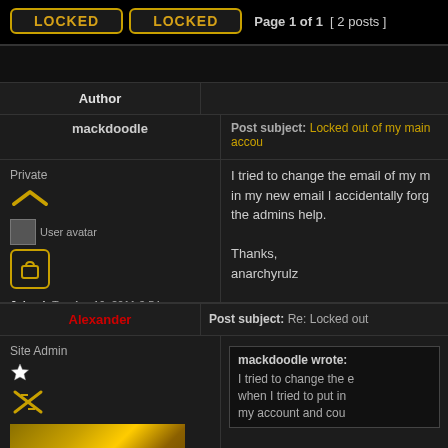LOCKED  LOCKED  Page 1 of 1  [ 2 posts ]
| Author |  |
| --- | --- |
| mackdoodle | Post subject: Locked out of my main account
I tried to change the email of my main account and when I tried to put in my new email I accidentally forgot my old password. Please have the admins help.

Thanks,
anarchyrulz |
| Top |  |
| Alexander | Post subject: Re: Locked out... |
| --- | --- |
| Site Admin
[rank icon]
Joined info | mackdoodle wrote:
I tried to change the email when I tried to put in my account and cou... |